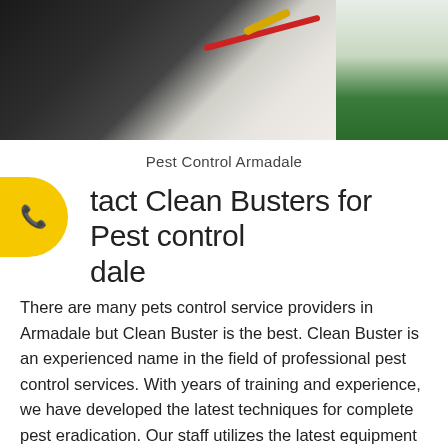[Figure (photo): Pest control worker in dark clothing spraying with a red hose and yellow nozzle near a white door, with green plant visible on the right side]
Pest Control Armadale
Contact Clean Busters for Pest control Armadale
There are many pets control service providers in Armadale but Clean Buster is the best. Clean Buster is an experienced name in the field of professional pest control services. With years of training and experience, we have developed the latest techniques for complete pest eradication. Our staff utilizes the latest equipment and the right set of tools to make sure you get your home's pest free. We always take customer satisfac